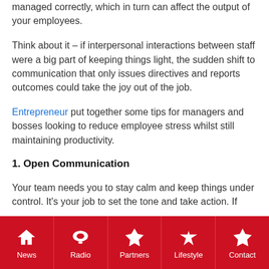managed correctly, which in turn can affect the output of your employees.
Think about it – if interpersonal interactions between staff were a big part of keeping things light, the sudden shift to communication that only issues directives and reports outcomes could take the joy out of the job.
Entrepreneur put together some tips for managers and bosses looking to reduce employee stress whilst still maintaining productivity.
1. Open Communication
Your team needs you to stay calm and keep things under control. It's your job to set the tone and take action. If
News | Radio | Partners | Lifestyle | Contact